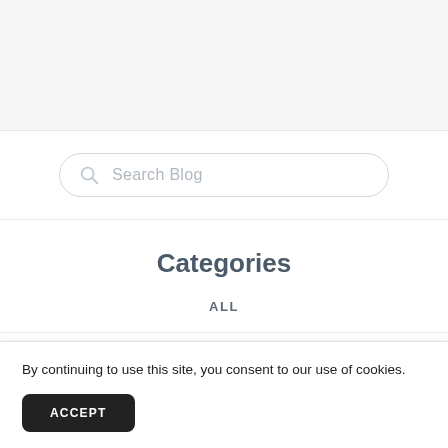[Figure (screenshot): Search bar widget with magnifying glass icon and placeholder text 'Search Blog', styled with rounded border]
Categories
ALL
By continuing to use this site, you consent to our use of cookies.
ACCEPT